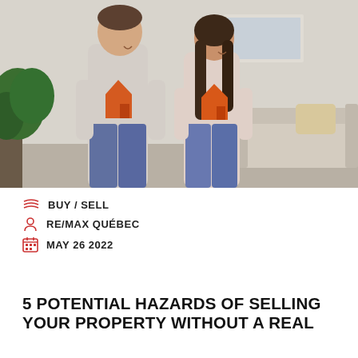[Figure (photo): A man and woman standing indoors holding orange paper house-shaped cutouts in front of them, smiling. A sofa and indoor plant are visible in the background.]
BUY / SELL
RE/MAX QUÉBEC
MAY 26 2022
5 POTENTIAL HAZARDS OF SELLING YOUR PROPERTY WITHOUT A REAL